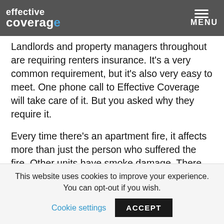effective coverage — MENU
Landlords and property managers throughout are requiring renters insurance. It's a very common requirement, but it's also very easy to meet. One phone call to Effective Coverage will take care of it. But you asked why they require it.
Every time there's an apartment fire, it affects more than just the person who suffered the fire. Other units have smoke damage. There may be injuries. There's property damage to the apartment building from fighting the fire, as well, such as holes cut in the wall to try to find hot spots.
This website uses cookies to improve your experience. You can opt-out if you wish. Cookie settings ACCEPT